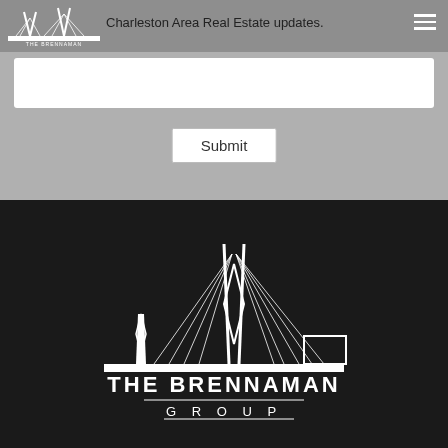Charleston Area Real Estate updates.
[Figure (logo): The Brennaman Group logo in header (small, white on grey background)]
[Figure (screenshot): Email input text field (white box)]
[Figure (other): Submit button]
[Figure (logo): The Brennaman Group large white logo on dark background in footer, featuring the Ravenel Bridge cable-stayed bridge graphic with text THE BRENNAMAN GROUP below]